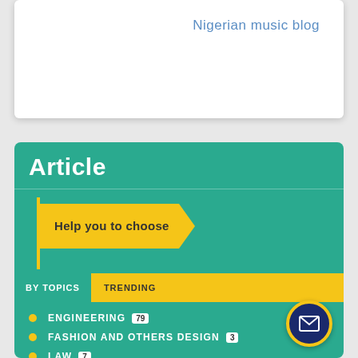Nigerian music blog
Article
Help you to choose
BY TOPICS   TRENDING
ENGINEERING 79
FASHION AND OTHERS DESIGN 3
LAW 7
MANAGEMENT 68
MEDICAL 19
OTHERS 254